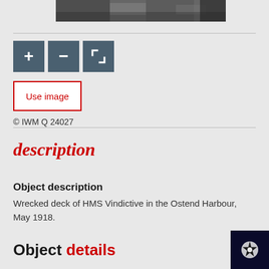[Figure (photo): Black and white photograph strip showing wrecked deck of HMS Vindictive]
[Figure (screenshot): Image viewer toolbar with zoom in (+), zoom out (-), and expand/fullscreen buttons in dark teal/slate color]
Use image
© IWM Q 24027
description
Object description
Wrecked deck of HMS Vindictive in the Ostend Harbour, May 1918.
Object details